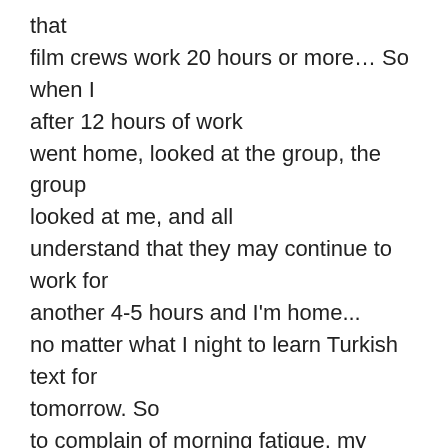that film crews work 20 hours or more… So when I after 12 hours of work went home, looked at the group, the group looked at me, and all understand that they may continue to work for another 4-5 hours and I'm home... no matter what I night to learn Turkish text for tomorrow. So to complain of morning fatigue, my conscience does not allow. Every weekend I came to my teacher of Turkish, and we have read and sorted all the scenes included in the programme for next week. If you understand the text grammatically, to learn it is not difficult. Faced with the fact that the proposal is understandable, but one